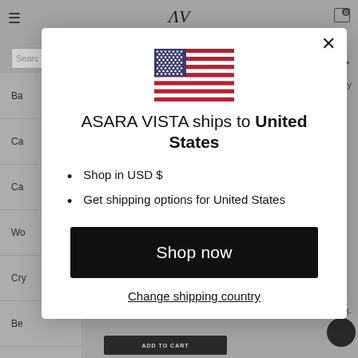[Figure (screenshot): Background webpage showing navigation menu, search bar, and navigation items partially visible behind a modal dialog]
[Figure (illustration): United States flag emoji/illustration shown at top of modal]
ASARA VISTA ships to United States
Shop in USD $
Get shipping options for United States
Shop now
Change shipping country